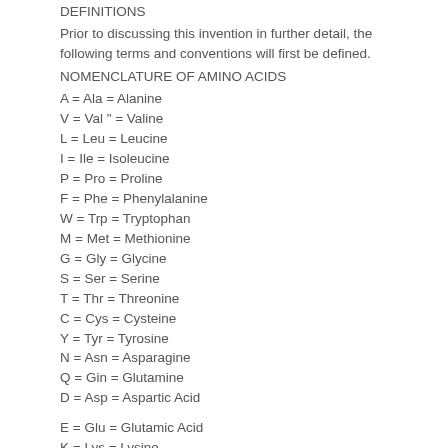DEFINITIONS
Prior to discussing this invention in further detail, the following terms and conventions will first be defined.
NOMENCLATURE OF AMINO ACIDS
A = Ala = Alanine
V = Val " = Valine
L = Leu = Leucine
I = Ile = Isoleucine
P = Pro = Proline
F = Phe = Phenylalanine
W = Trp = Tryptophan
M = Met = Methionine
G = Gly = Glycine
S = Ser = Serine
T = Thr = Threonine
C = Cys = Cysteine
Y = Tyr = Tyrosine
N = Asn = Asparagine
Q = Gin = Glutamine
D = Asp = Aspartic Acid
E = Glu = Glutamic Acid
K = Lys = Lysine